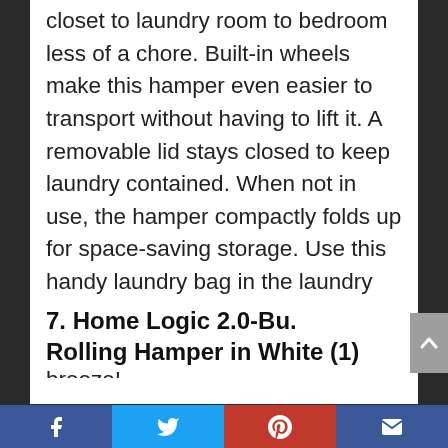closet to laundry room to bedroom less of a chore. Built-in wheels make this hamper even easier to transport without having to lift it. A removable lid stays closed to keep laundry contained. When not in use, the hamper compactly folds up for space-saving storage. Use this handy laundry bag in the laundry room, bedroom, or college dorm room to make laundry day a breeze!
7. Home Logic 2.0-Bu. Rolling Hamper in White (1)
Facebook Twitter Pinterest Email